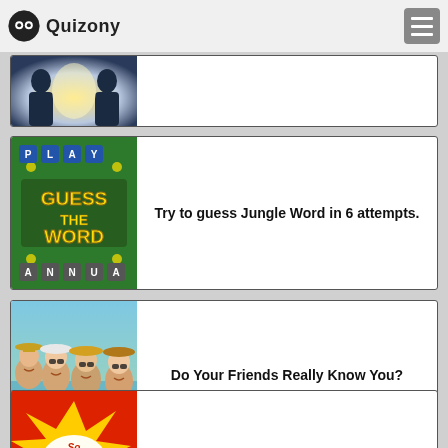Quizony
[Figure (screenshot): Card with two silhouettes facing each other against a bright background]
[Figure (screenshot): Guess The Word game tile with green background and letter tiles]
Try to guess Jungle Word in 6 attempts.
[Figure (photo): Group of young women in summer hats near a pool]
Do Your Friends Really Know You?
[Figure (illustration): Comic-style illustration of a woman with So Easy speech bubble]
The FASTEST way to learn any language!